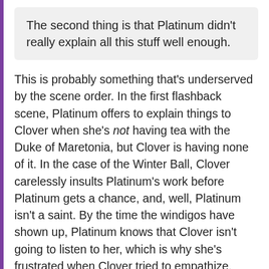The second thing is that Platinum didn't really explain all this stuff well enough.
This is probably something that's underserved by the scene order. In the first flashback scene, Platinum offers to explain things to Clover when she's not having tea with the Duke of Maretonia, but Clover is having none of it. In the case of the Winter Ball, Clover carelessly insults Platinum's work before Platinum gets a chance, and, well, Platinum isn't a saint. By the time the windigos have shown up, Platinum knows that Clover isn't going to listen to her, which is why she's frustrated when Clover tried to empathize.
On the day of the party, Platinum really could have explained better, but she was short on time, and Clover kept making assumptions about her anyway.
Neither of them are perfect, and they both do plenty of